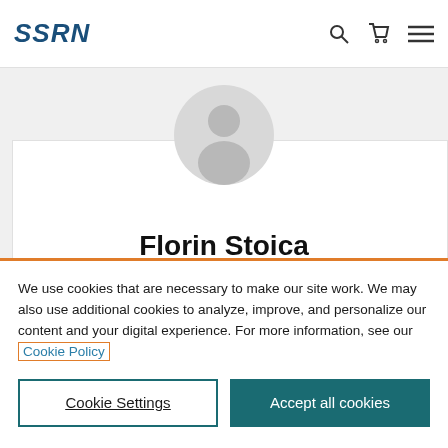SSRN
[Figure (illustration): Default user avatar silhouette in a grey circle, representing a profile photo placeholder for Florin Stoica on the SSRN website.]
Florin Stoica
We use cookies that are necessary to make our site work. We may also use additional cookies to analyze, improve, and personalize our content and your digital experience. For more information, see our Cookie Policy
Cookie Settings
Accept all cookies